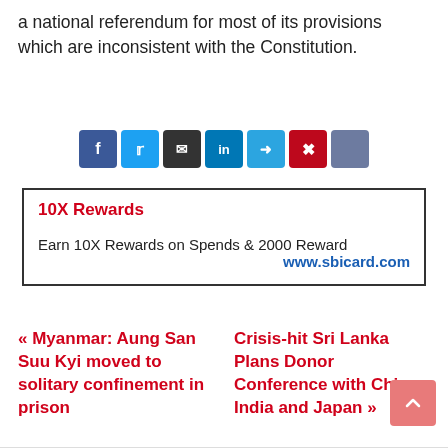a national referendum for most of its provisions which are inconsistent with the Constitution.
[Figure (other): Social sharing icon bar with buttons for Facebook, Twitter, Email, LinkedIn, Telegram, Pinterest, and one more share option]
[Figure (other): Advertisement box: 10X Rewards — Earn 10X Rewards on Spends & 2000 Reward — www.sbicard.com]
« Myanmar: Aung San Suu Kyi moved to solitary confinement in prison
Crisis-hit Sri Lanka Plans Donor Conference with China, India and Japan »